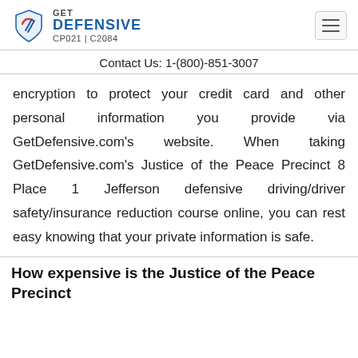GET DEFENSIVE CP021 | C2084
Contact Us: 1-(800)-851-3007
encryption to protect your credit card and other personal information you provide via GetDefensive.com's website. When taking GetDefensive.com's Justice of the Peace Precinct 8 Place 1 Jefferson defensive driving/driver safety/insurance reduction course online, you can rest easy knowing that your private information is safe.
How expensive is the Justice of the Peace Precinct